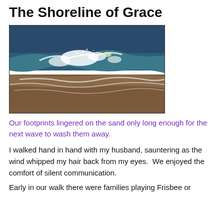The Shoreline of Grace
[Figure (photo): Ocean waves crashing on a sandy beach shore, with white foam and blue-green water, viewed close up at shore level.]
Our footprints lingered on the sand only long enough for the next wave to wash them away.
I walked hand in hand with my husband, sauntering as the wind whipped my hair back from my eyes.  We enjoyed the comfort of silent communication.
Early in our walk there were families playing Frisbee or